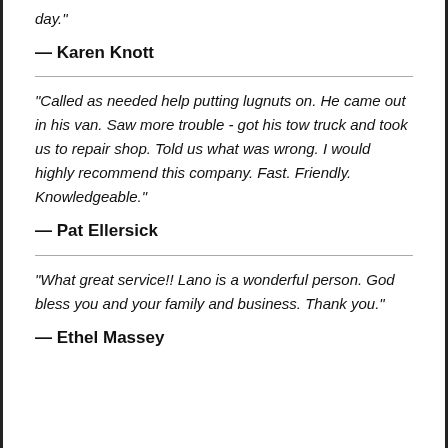day."
— Karen Knott
"Called as needed help putting lugnuts on. He came out in his van. Saw more trouble - got his tow truck and took us to repair shop. Told us what was wrong. I would highly recommend this company. Fast. Friendly. Knowledgeable."
— Pat Ellersick
"What great service!! Lano is a wonderful person. God bless you and your family and business. Thank you."
— Ethel Massey